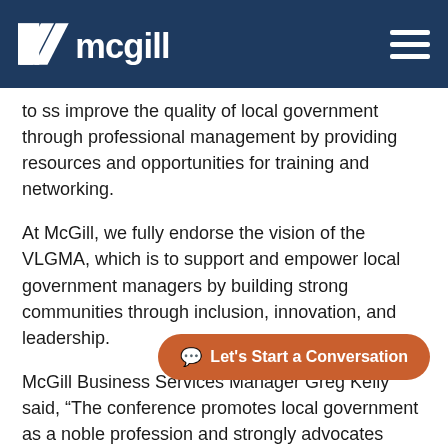McGill
to ... improve the quality of local government through professional management by providing resources and opportunities for training and networking.
At McGill, we fully endorse the vision of the VLGMA, which is to support and empower local government managers by building strong communities through inclusion, innovation, and leadership.
McGill Business Services Manager Greg Kelly said, “The conference promotes local government as a noble profession and strongly advocates networking, planning for the next generation of local government management by providing many opportunities for continuing education, and ... planning throughout all levels of local government